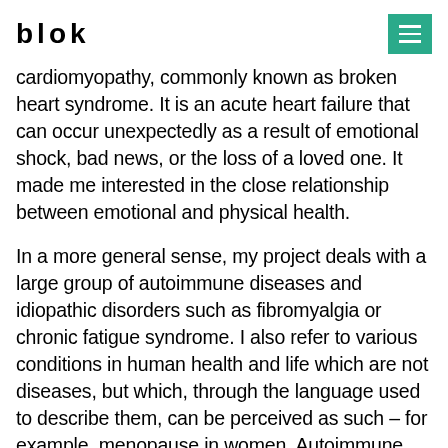blok
cardiomyopathy, commonly known as broken heart syndrome. It is an acute heart failure that can occur unexpectedly as a result of emotional shock, bad news, or the loss of a loved one. It made me interested in the close relationship between emotional and physical health.
In a more general sense, my project deals with a large group of autoimmune diseases and idiopathic disorders such as fibromyalgia or chronic fatigue syndrome. I also refer to various conditions in human health and life which are not diseases, but which, through the language used to describe them, can be perceived as such – for example, menopause in women. Autoimmune diseases, such as rheumatoid arthritis, lupus, Hashimoto's disease, are those in which the immune system begins to attack the body's